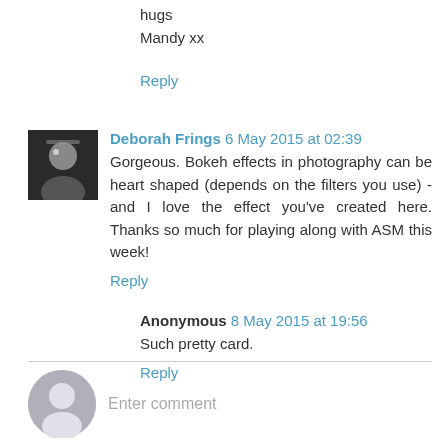hugs
Mandy xx
Reply
Deborah Frings 6 May 2015 at 02:39
Gorgeous. Bokeh effects in photography can be heart shaped (depends on the filters you use) - and I love the effect you've created here. Thanks so much for playing along with ASM this week!
Reply
Anonymous 8 May 2015 at 19:56
Such pretty card.
Reply
Enter comment